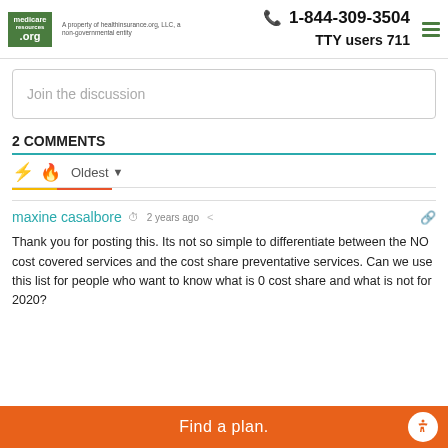medicareresources.org | A property of healthinsurance.org, LLC, a non-governmental entity | 1-844-309-3504 TTY users 711
Join the discussion
2 COMMENTS
Oldest
maxine casalbore  2 years ago
Thank you for posting this. Its not so simple to differentiate between the NO cost covered services and the cost share preventative services. Can we use this list for people who want to know what is 0 cost share and what is not for 2020?
Find a plan.